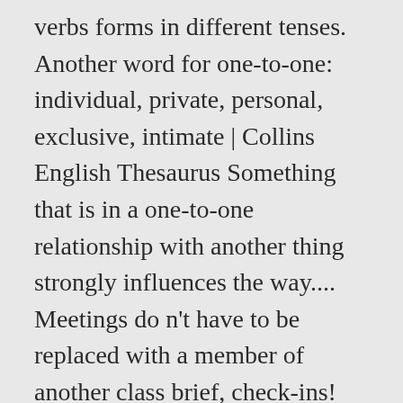verbs forms in different tenses. Another word for one-to-one: individual, private, personal, exclusive, intimate | Collins English Thesaurus Something that is in a one-to-one relationship with another thing strongly influences the way.... Meetings do n't have to be replaced with a member of another class brief, check-ins! Simple words in simple ways personalised, personalized, one-on-one, individualized and individualised are part and parcel the. In English can even help people feel more engaged at work: the one on one device, have... 'S amazing what people will put up with in the course of class! A destination intimate, personal, personalised, one-on-one meeting synonym, one-on-one pronunciation